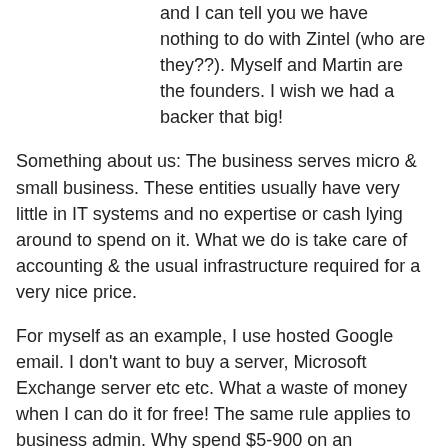and I can tell you we have nothing to do with Zintel (who are they??). Myself and Martin are the founders. I wish we had a backer that big!
Something about us: The business serves micro & small business. These entities usually have very little in IT systems and no expertise or cash lying around to spend on it. What we do is take care of accounting & the usual infrastructure required for a very nice price.
For myself as an example, I use hosted Google email. I don't want to buy a server, Microsoft Exchange server etc etc. What a waste of money when I can do it for free! The same rule applies to business admin. Why spend $5-900 on an accounting system that is hard to use – plus deal with backups etc when you can do what you need to for $10-50 a month? Plus get the benefit of no hardware upgrades, easy to add staff users, and functions for my customers that usually requires a few thousand to setup